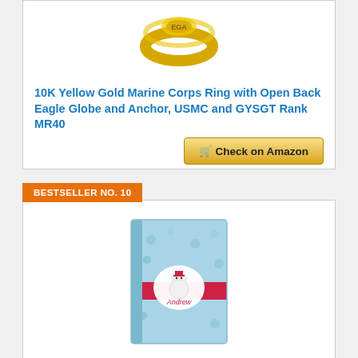[Figure (photo): Gold Marine Corps ring with Eagle Globe and Anchor design, viewed from top angle]
10K Yellow Gold Marine Corps Ring with Open Back Eagle Globe and Anchor, USMC and GYSGT Rank MR40
Check on Amazon
BESTSELLER NO. 10
[Figure (photo): Christmas-themed binder/book with penguins, snowflakes and holiday characters pattern, with red band and personalized label reading 'Andrew']